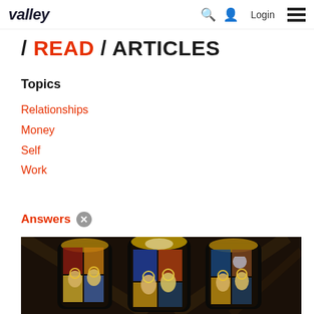valley / Login
/ READ / ARTICLES
Topics
Relationships
Money
Self
Work
Answers ✕
[Figure (photo): Three stained glass church windows with religious figures depicted, set against a dark interior background.]